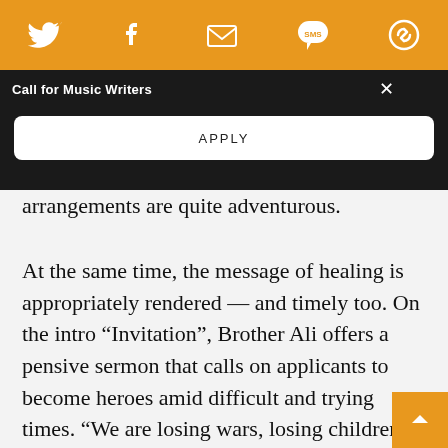[Figure (screenshot): Orange navigation/share bar with Twitter, Facebook, email, SMS, and bookmark icons in white on orange background]
Call for Music Writers
APPLY
arrangements are quite adventurous.
At the same time, the message of healing is appropriately rendered — and timely too. On the intro “Invitation”, Brother Ali offers a pensive sermon that calls on applicants to become heroes amid difficult and trying times. “We are losing wars, losing children, losing jobs”, he laments. “Losing our minds, souls, and our homes”. The explicit statement is that true empowerment emanates